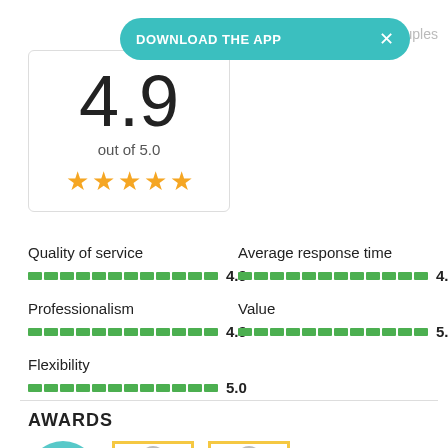[Figure (infographic): Download the App banner in teal/turquoise color with white bold text and an X close button]
couples
[Figure (infographic): Rating box showing 4.9 out of 5.0 with 5 gold stars]
Quality of service
4.9
Average response time
4.9
Professionalism
4.9
Value
5.0
Flexibility
5.0
AWARDS
[Figure (infographic): Awards badges — teal semicircle badge and two yellow-bordered award cards with circle icons]